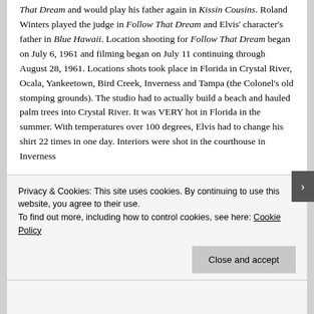Arthur O'Connell played Elvis' Toby's father in Follow That Dream and would play his father again in Kissin Cousins. Roland Winters played the judge in Follow That Dream and Elvis' character's father in Blue Hawaii. Location shooting for Follow That Dream began on July 6, 1961 and filming began on July 11 continuing through August 28, 1961. Locations shots took place in Florida in Crystal River, Ocala, Yankeetown, Bird Creek, Inverness and Tampa (the Colonel's old stomping grounds). The studio had to actually build a beach and hauled palm trees into Crystal River. It was VERY hot in Florida in the summer. With temperatures over 100 degrees, Elvis had to change his shirt 22 times in one day. Interiors were shot in the courthouse in Inverness
Privacy & Cookies: This site uses cookies. By continuing to use this website, you agree to their use.
To find out more, including how to control cookies, see here: Cookie Policy